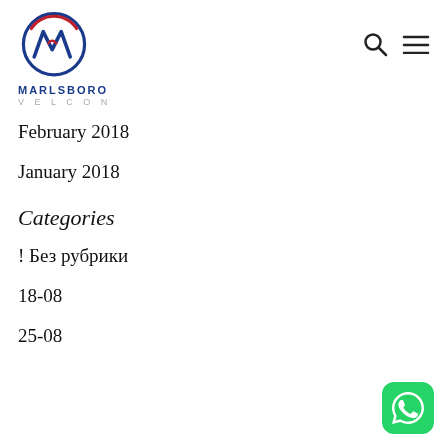[Figure (logo): Marlsboro Velcon logo: circular icon with red and blue M design, text MARLSBORO in blue and VELCON in gray below]
February 2018
January 2018
Categories
! Без рубрики
18-08
25-08
[Figure (logo): WhatsApp icon: green rounded square with white phone/speech bubble logo]